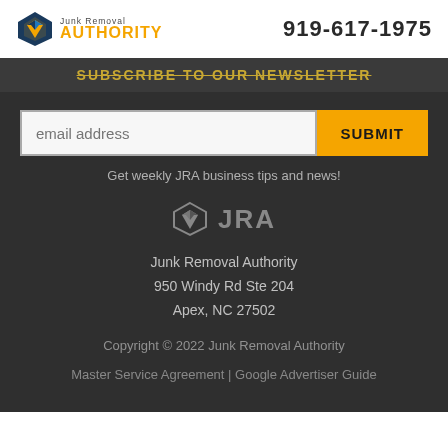[Figure (logo): Junk Removal Authority logo with shield icon, company name and phone number 919-617-1975]
SUBSCRIBE TO OUR NEWSLETTER
email address
SUBMIT
Get weekly JRA business tips and news!
[Figure (logo): JRA shield logo in grey]
Junk Removal Authority
950 Windy Rd Ste 204
Apex, NC 27502
Copyright © 2022 Junk Removal Authority
Master Service Agreement | Google Advertiser Guide